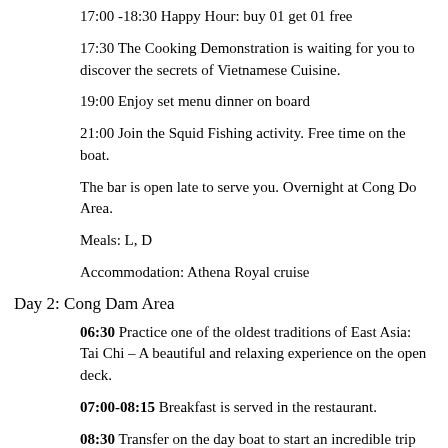17:00 -18:30 Happy Hour: buy 01 get 01 free
17:30 The Cooking Demonstration is waiting for you to discover the secrets of Vietnamese Cuisine.
19:00 Enjoy set menu dinner on board
21:00 Join the Squid Fishing activity. Free time on the boat.
The bar is open late to serve you. Overnight at Cong Do Area.
Meals: L, D
Accommodation: Athena Royal cruise
Day 2: Cong Dam Area
06:30 Practice one of the oldest traditions of East Asia: Tai Chi – A beautiful and relaxing experience on the open deck.
07:00-08:15 Breakfast is served in the restaurant.
08:30 Transfer on the day boat to start an incredible trip to Halong Bay.